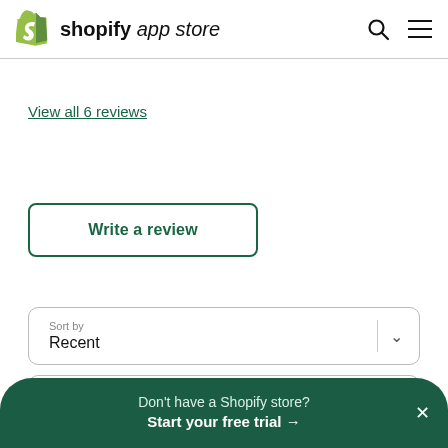shopify app store
View all 6 reviews
Write a review
Sort by Recent
Show All ratings
Don't have a Shopify store? Start your free trial →